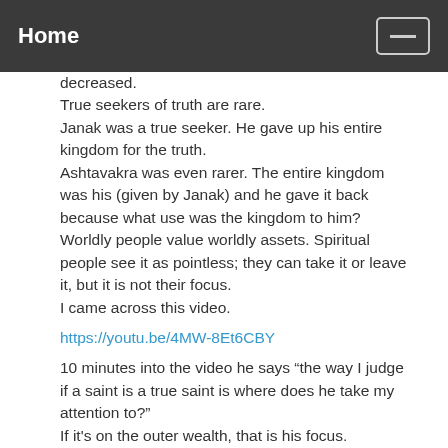Home
decreased.
True seekers of truth are rare.
Janak was a true seeker. He gave up his entire kingdom for the truth.
Ashtavakra was even rarer. The entire kingdom was his (given by Janak) and he gave it back because what use was the kingdom to him?
Worldly people value worldly assets. Spiritual people see it as pointless; they can take it or leave it, but it is not their focus.
I came across this video.
https://youtu.be/4MW-8Et6CBY
10 minutes into the video he says “the way I judge if a saint is a true saint is where does he take my attention to?”
If it's on the outer wealth, that is his focus.
That's not the reason to join a spiritual path. For the worldly people, that is their focus so for them it is the correct path.